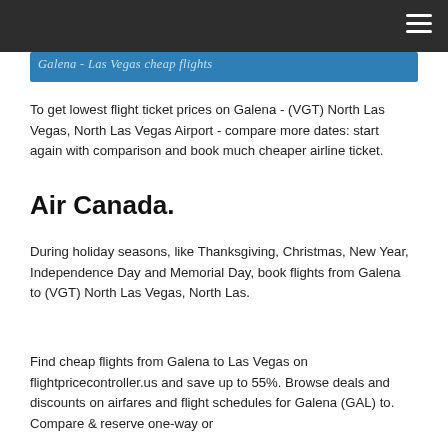[Figure (other): Blue banner with partially visible italic text]
To get lowest flight ticket prices on Galena - (VGT) North Las Vegas, North Las Vegas Airport - compare more dates: start again with comparison and book much cheaper airline ticket.
Air Canada.
During holiday seasons, like Thanksgiving, Christmas, New Year, Independence Day and Memorial Day, book flights from Galena to (VGT) North Las Vegas, North Las.
Find cheap flights from Galena to Las Vegas on flightpricecontroller.us and save up to 55%. Browse deals and discounts on airfares and flight schedules for Galena (GAL) to. Compare & reserve one-way or